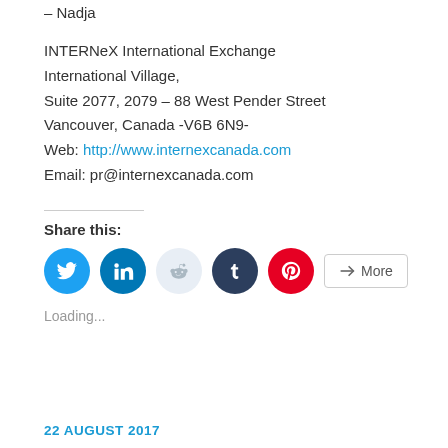– Nadja
INTERNeX International Exchange
International Village,
Suite 2077, 2079 – 88 West Pender Street
Vancouver, Canada -V6B 6N9-
Web: http://www.internexcanada.com
Email: pr@internexcanada.com
Share this:
[Figure (other): Social share buttons: Twitter, LinkedIn, Reddit, Tumblr, Pinterest, and More]
Loading...
22 AUGUST 2017